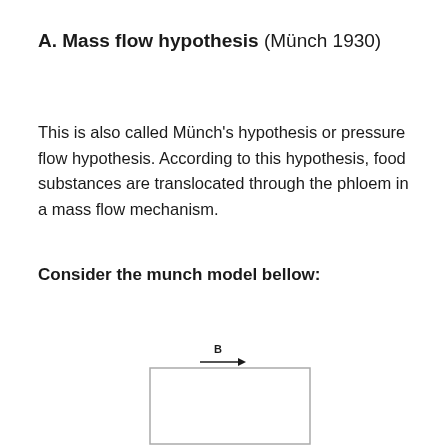A. Mass flow hypothesis (Münch 1930)
This is also called Münch's hypothesis or pressure flow hypothesis. According to this hypothesis, food substances are translocated through the phloem in a mass flow mechanism.
Consider the munch model bellow:
[Figure (schematic): A simple rectangular box diagram labeled B with an arrow pointing right at the top, representing the Münch model of mass flow in phloem.]